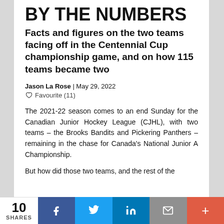BY THE NUMBERS
Facts and figures on the two teams facing off in the Centennial Cup championship game, and on how 115 teams became two
Jason La Rose | May 29, 2022
♡ Favourite (11)
The 2021-22 season comes to an end Sunday for the Canadian Junior Hockey League (CJHL), with two teams – the Brooks Bandits and Pickering Panthers – remaining in the chase for Canada's National Junior A Championship.
But how did those two teams, and the rest of the
10 SHARES | Facebook | Twitter | LinkedIn | Email | More